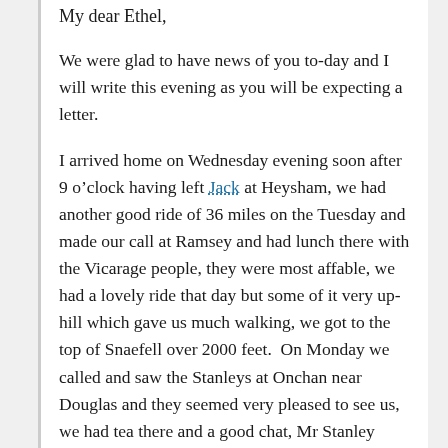My dear Ethel,
We were glad to have news of you to-day and I will write this evening as you will be expecting a letter.
I arrived home on Wednesday evening soon after 9 o’clock having left Jack at Heysham, we had another good ride of 36 miles on the Tuesday and made our call at Ramsey and had lunch there with the Vicarage people, they were most affable, we had a lovely ride that day but some of it very up-hill which gave us much walking, we got to the top of Snaefell over 2000 feet.  On Monday we called and saw the Stanleys at Onchan near Douglas and they seemed very pleased to see us, we had tea there and a good chat, Mr Stanley thought we had done a lot in our short time and picked out the best routes, altogether we were fortunate in our weather and had a very pleasant time.
We heard from Jack by p.c. from Ambleside and he had met his friend all right and to-day another p.c. came from